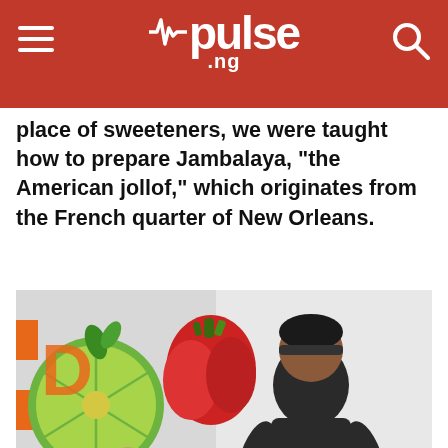pulse .ng
place of sweeteners, we were taught how to prepare Jambalaya, "the American jollof," which originates from the French quarter of New Orleans.
[Figure (photo): Kevin Curry cooking in front of a colorful food-themed backdrop with fruit and vegetable illustrations, with pulse.ng watermark overlay]
Kevin Curry
Kevin Curry definitely got us all thrilled